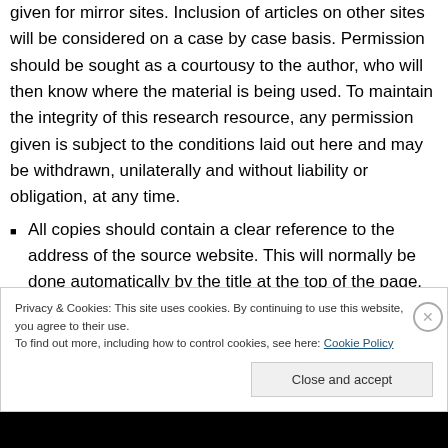given for mirror sites. Inclusion of articles on other sites will be considered on a case by case basis. Permission should be sought as a courtousy to the author, who will then know where the material is being used. To maintain the integrity of this research resource, any permission given is subject to the conditions laid out here and may be withdrawn, unilaterally and without liability or obligation, at any time.
All copies should contain a clear reference to the address of the source website. This will normally be done automatically by the title at the top of the page.
Privacy & Cookies: This site uses cookies. By continuing to use this website, you agree to their use. To find out more, including how to control cookies, see here: Cookie Policy